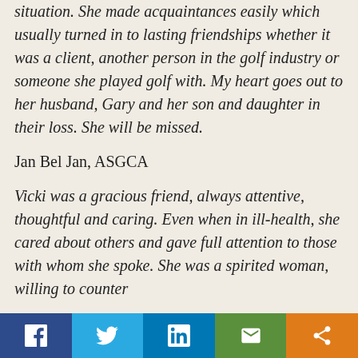situation. She made acquaintances easily which usually turned in to lasting friendships whether it was a client, another person in the golf industry or someone she played golf with. My heart goes out to her husband, Gary and her son and daughter in their loss. She will be missed.
Jan Bel Jan, ASGCA
Vicki was a gracious friend, always attentive, thoughtful and caring. Even when in ill-health, she cared about others and gave full attention to those with whom she spoke. She was a spirited woman, willing to counter